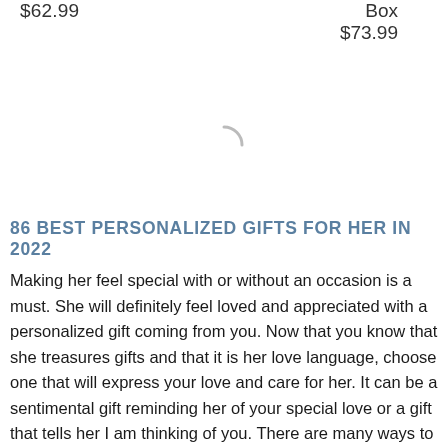$62.99
Box
$73.99
[Figure (other): Loading spinner / circular progress indicator]
86 BEST PERSONALIZED GIFTS FOR HER IN 2022
Making her feel special with or without an occasion is a must. She will definitely feel loved and appreciated with a personalized gift coming from you. Now that you know that she treasures gifts and that it is her love language, choose one that will express your love and care for her. It can be a sentimental gift reminding her of your special love or a gift that tells her I am thinking of you. There are many ways to express your love, but none says it more than with a